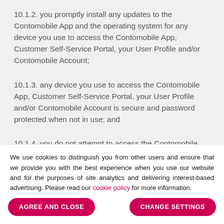10.1.2. you promptly install any updates to the Contomobile App and the operating system for any device you use to access the Contomobile App, Customer Self-Service Portal, your User Profile and/or Contomobile Account;
10.1.3. any device you use to access the Contomobile App, Customer Self-Service Portal, your User Profile and/or Contomobile Account is secure and password protected when not in use; and
10.1.4. you do not attempt to access the Contomobile App, Customer Self-Service Portal, your User Profile or Contomobile Account from a device with an operating
We use cookies to distinguish you from other users and ensure that we provide you with the best experience when you use our website and for the purposes of site analytics and delivering interest-based advertising. Please read our cookie policy for more information.
AGREE AND CLOSE
CHANGE SETTINGS